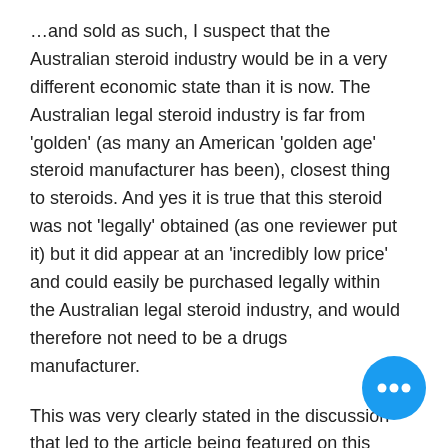…and sold as such, I suspect that the Australian steroid industry would be in a very different economic state than it is now. The Australian legal steroid industry is far from 'golden' (as many an American 'golden age' steroid manufacturer has been), closest thing to steroids. And yes it is true that this steroid was not 'legally' obtained (as one reviewer put it) but it did appear at an 'incredibly low price' and could easily be purchased legally within the Australian legal steroid industry, and would therefore not need to be a drugs manufacturer.

This was very clearly stated in the discussion that led to the article being featured on this blog, that is this article from the Australian Pro-Stem and Sports Science Review, legal steroids dianabol.